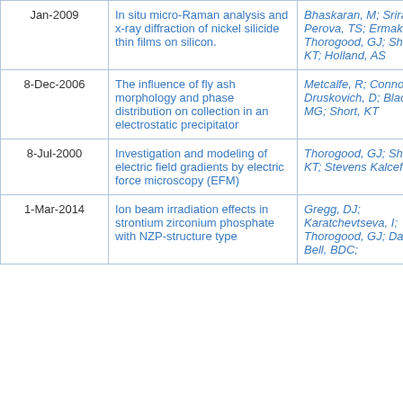| Date | Title | Authors |
| --- | --- | --- |
| Jan-2009 | In situ micro-Raman analysis and x-ray diffraction of nickel silicide thin films on silicon. | Bhaskaran, M; Sriram, S; Perova, TS; Ermakov, V; Thorogood, GJ; Short, KT; Holland, AS |
| 8-Dec-2006 | The influence of fly ash morphology and phase distribution on collection in an electrostatic precipitator | Metcalfe, R; Connor, J; Druskovich, D; Blackford, MG; Short, KT |
| 8-Jul-2000 | Investigation and modeling of electric field gradients by electric force microscopy (EFM) | Thorogood, GJ; Short, KT; Stevens Kalceff, MA |
| 1-Mar-2014 | Ion beam irradiation effects in strontium zirconium phosphate with NZP-structure type | Gregg, DJ; Karatchevtseva, I; Thorogood, GJ; Davis, J; Bell, BDC; |